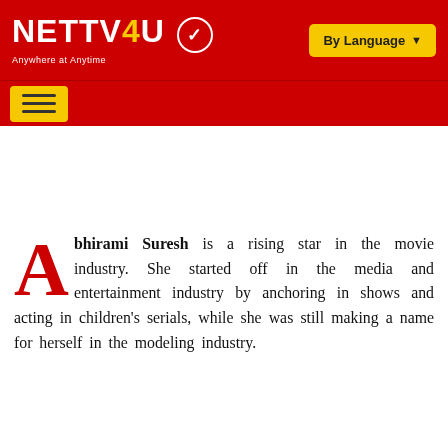NETTV4U — Anywhere at Anytime | By Language
[Figure (screenshot): NETTV4U website header with red background, logo on left, yellow 'By Language' dropdown button on right, and yellow hamburger menu button below]
Abhirami Suresh is a rising star in the movie industry. She started off in the media and entertainment industry by anchoring in shows and acting in children's serials, while she was still making a name for herself in the modeling industry.